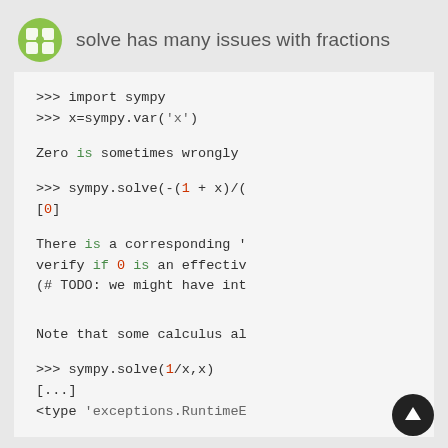solve has many issues with fractions
>>> import sympy
>>> x=sympy.var('x')
Zero is sometimes wrongly
>>> sympy.solve(-(1 + x)/(
[0]
There is a corresponding '
verify if 0 is an effectiv
(# TODO: we might have int
Note that some calculus al
>>> sympy.solve(1/x,x)
[...]
<type 'exceptions.RuntimeE